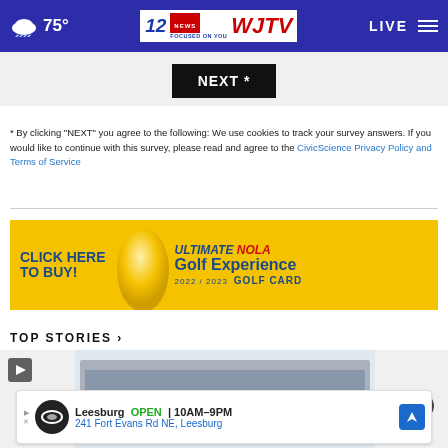75° WJTV 12 NEWS FOCUSED ON YOU | LIVE
NEXT *
* By clicking "NEXT" you agree to the following: We use cookies to track your survey answers. If you would like to continue with this survey, please read and agree to the CivicScience Privacy Policy and Terms of Service
[Figure (other): Advertisement banner: CLICK HERE TO BUY! ULTIMATE NOLA Golf Experience 2022/2023 GOLF CARD]
TOP STORIES ›
[Figure (photo): Photo of the back of a truck/trailer with lights visible, story image with play button overlay]
[Figure (other): Bottom advertisement: Leesburg OPEN 10AM-9PM 241 Fort Evans Rd NE, Leesburg]